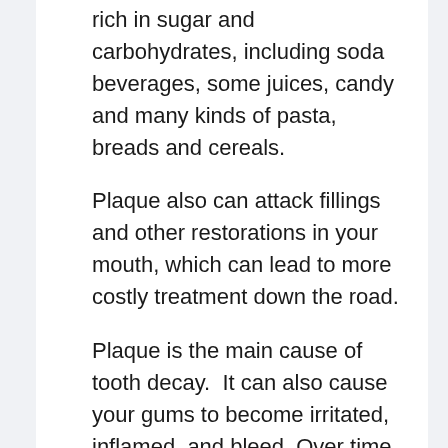rich in sugar and carbohydrates, including soda beverages, some juices, candy and many kinds of pasta, breads and cereals.
Plaque also can attack fillings and other restorations in your mouth, which can lead to more costly treatment down the road.
Plaque is the main cause of tooth decay.  It can also cause your gums to become irritated, inflamed, and bleed. Over time, the plaque underneath your gums may cause periodontal disease, which can lead to bone loss and eventual tooth loss.
Inside your teeth, decay can gradually destroy the inner layer, or dentin.  It can also destroy the pulp, which contains blood vessels, nerves and other tissues, as well as the root.